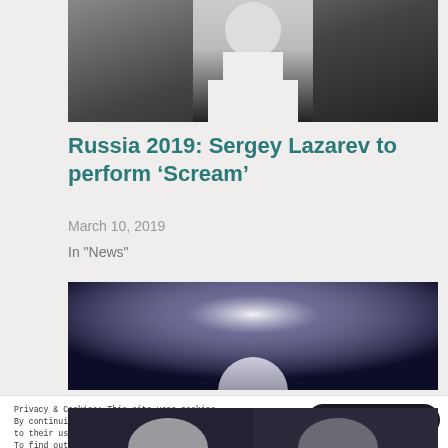[Figure (photo): Man in white shirt and dark trousers posing against dark background]
Russia 2019: Sergey Lazarev to perform ‘Scream’
March 10, 2019
In "News"
[Figure (photo): Stage spotlights against dark background with performer silhouette]
Privacy & Cookies: This site uses cookies. By continuing to use this website, you agree to their use. To find out more, including how to control cookies, see here: Cookie Policy
[Figure (photo): Partial image of performers at bottom of page]